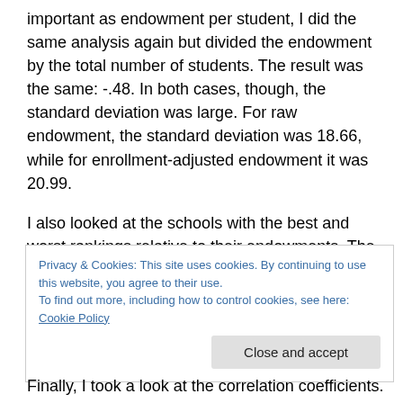important as endowment per student, I did the same analysis again but divided the endowment by the total number of students. The result was the same: -.48. In both cases, though, the standard deviation was large. For raw endowment, the standard deviation was 18.66, while for enrollment-adjusted endowment it was 20.99.
I also looked at the schools with the best and worst rankings relative to their endowments. The winners were the US Air Force Academy (ranked 65 spots above the location that its 90th-ranked endowment would suggest)
Privacy & Cookies: This site uses cookies. By continuing to use this website, you agree to their use.
To find out more, including how to control cookies, see here: Cookie Policy
Close and accept
Finally, I took a look at the correlation coefficients.